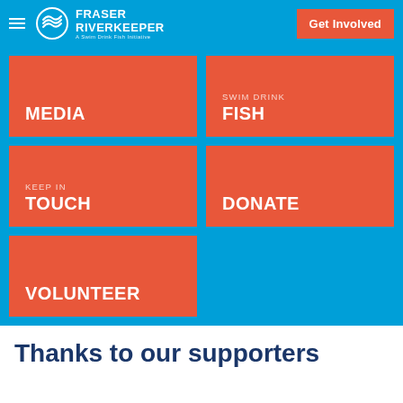FRASER RIVERKEEPER — A Swim Drink Fish Initiative — Get Involved
[Figure (screenshot): Fraser Riverkeeper website navigation screenshot showing a blue header with logo and Get Involved button, and a grid of red tiles: MEDIA, SWIM DRINK FISH, KEEP IN TOUCH, DONATE, VOLUNTEER]
Thanks to our supporters